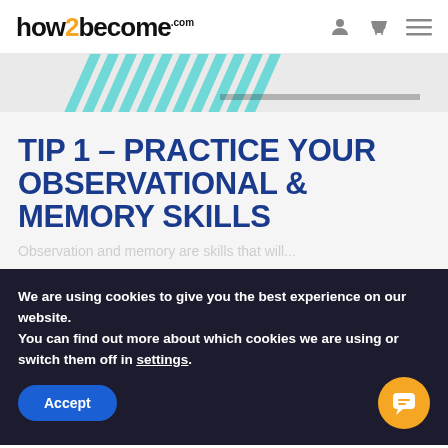how2become.com
[Figure (illustration): Diagonal teal/cyan stripe pattern banner]
TIP 1 – PRACTICE YOUR OBSERVATIONAL & MEMORY SKILLS
Observation and memory are skills that...
We are using cookies to give you the best experience on our website.
You can find out more about which cookies we are using or switch them off in settings.
Accept